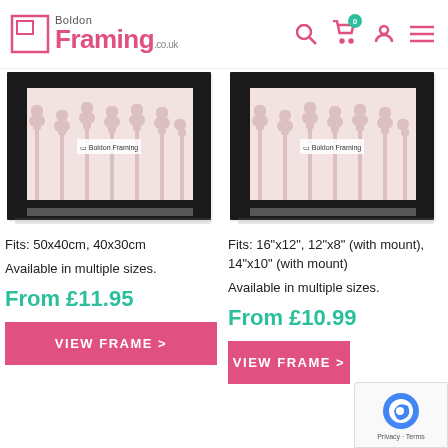Boldon Framing .co.uk
[Figure (photo): Black picture frame product image with tree pattern print inside, left product]
Fits: 50x40cm, 40x30cm
Available in multiple sizes.
From £11.95
VIEW FRAME >
[Figure (photo): Black picture frame product image with tree pattern print inside, right product]
Fits: 16"x12", 12"x8" (with mount), 14"x10" (with mount)
Available in multiple sizes.
From £10.99
VIEW FRAME >